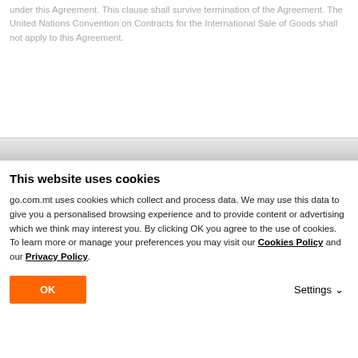under this Agreement. This clause shall survive termination of the Agreement. The United Nations Convention on Contracts for the International Sale of Goods shall not apply to this Agreement.
This website uses cookies
go.com.mt uses cookies which collect and process data. We may use this data to give you a personalised browsing experience and to provide content or advertising which we think may interest you. By clicking OK you agree to the use of cookies. To learn more or manage your preferences you may visit our Cookies Policy and our Privacy Policy.